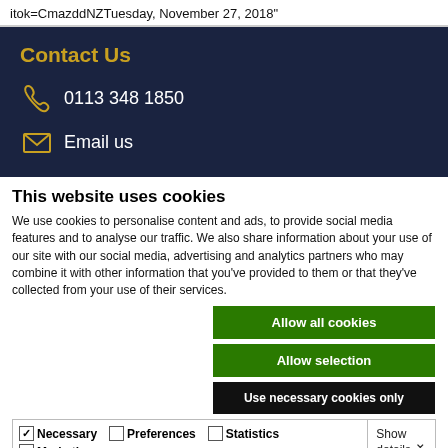itok=CmazddNZTuesday, November 27, 2018"
Contact Us
0113 348 1850
Email us
This website uses cookies
We use cookies to personalise content and ads, to provide social media features and to analyse our traffic. We also share information about your use of our site with our social media, advertising and analytics partners who may combine it with other information that you've provided to them or that they've collected from your use of their services.
Allow all cookies
Allow selection
Use necessary cookies only
Necessary  Preferences  Statistics  Marketing  Show details